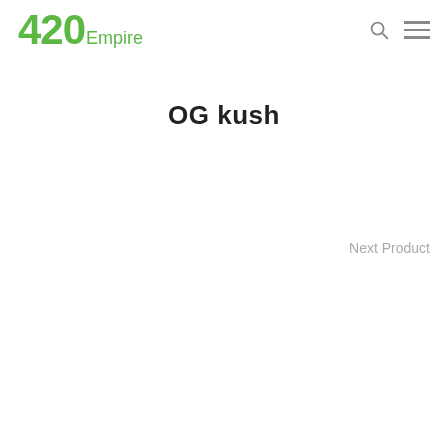420Empire
OG kush
Next Product